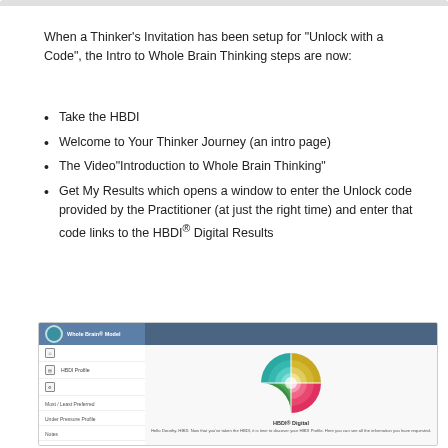When a Thinker's Invitation has been setup for "Unlock with a Code", the Intro to Whole Brain Thinking steps are now:
Take the HBDI
Welcome to Your Thinker Journey (an intro page)
The Video"Introduction to Whole Brain Thinking"
Get My Results which opens a window to enter the Unlock code provided by the Practitioner (at just the right time) and enter that code links to the HBDI® Digital Results
[Figure (screenshot): Screenshot of HBDI Digital Results interface showing a sidebar with navigation items (Whole Brain Model, HBDI Profile, Most/Least Preferred, Under Pressure Profile, Notes) and a main area with a colorful quadrant brain diagram (teal, yellow, pink/red, green) labeled HBDI® Digital, with introductory text below.]